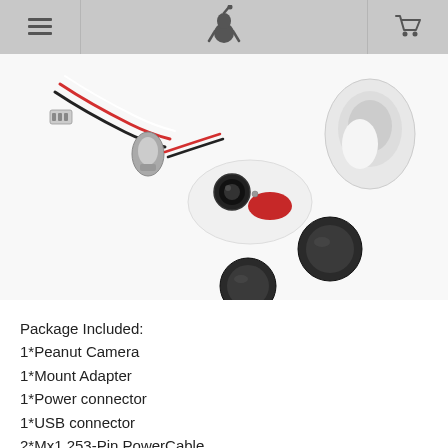Navigation header with menu icon, logo, and cart icon
[Figure (photo): Product photo showing disassembled Peanut Camera components: white oval camera body with red button and lens, mount adapter, cables with connectors, lens caps, and other accessories on white background]
Package Included:
1*Peanut Camera
1*Mount Adapter
1*Power connector
1*USB connector
2*Mx1.253-Pin PowerCable
1*2S-6SStep- down Module
1*ND & Filter